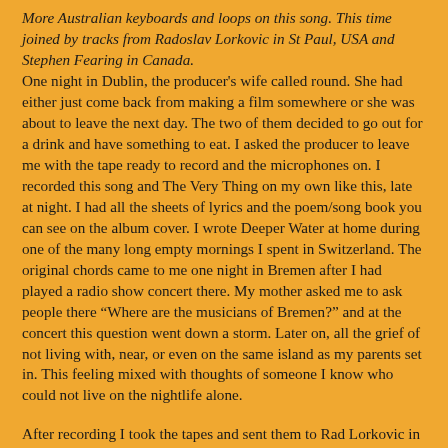More Australian keyboards and loops on this song. This time joined by tracks from Radoslav Lorkovic in St Paul, USA and Stephen Fearing in Canada.
One night in Dublin, the producer's wife called round. She had either just come back from making a film somewhere or she was about to leave the next day. The two of them decided to go out for a drink and have something to eat. I asked the producer to leave me with the tape ready to record and the microphones on. I recorded this song and The Very Thing on my own like this, late at night. I had all the sheets of lyrics and the poem/song book you can see on the album cover. I wrote Deeper Water at home during one of the many long empty mornings I spent in Switzerland. The original chords came to me one night in Bremen after I had played a radio show concert there. My mother asked me to ask people there “Where are the musicians of Bremen?” and at the concert this question went down a storm. Later on, all the grief of not living with, near, or even on the same island as my parents set in. This feeling mixed with thoughts of someone I know who could not live on the nightlife alone.
After recording I took the tapes and sent them to Rad Lorkovic in Iowa. Playing one night in Cantù near Como in Italy, Carlo Carlini who organised the tour had told me that there was an amazing Croatian-American accordion player in the audience. We asked him onstage and we have been playing together ever since, either if Rad is in Italy or whenever I am in America. He recorded the piano and accordion on